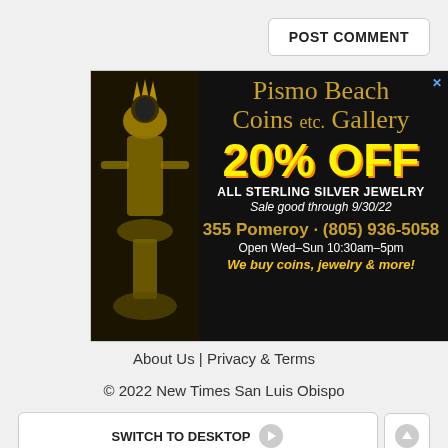POST COMMENT
[Figure (illustration): Advertisement for Pismo Beach Coins etc. Gallery featuring a decorative statue on black background. Text reads: Pismo Beach Coins etc. Gallery, 20% OFF, ALL STERLING SILVER JEWELRY, Sale good through 9/30/22, 355 Pomeroy · (805) 936-5058, Open Wed–Sun 10:30am–5pm, We buy coins, jewelry & more!]
About Us | Privacy & Terms
© 2022 New Times San Luis Obispo
SWITCH TO DESKTOP